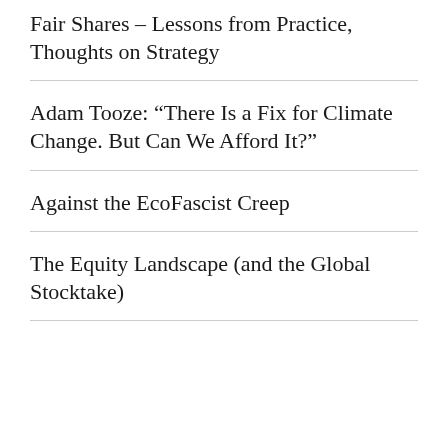Fair Shares – Lessons from Practice, Thoughts on Strategy
Adam Tooze: “There Is a Fix for Climate Change. But Can We Afford It?”
Against the EcoFascist Creep
The Equity Landscape (and the Global Stocktake)